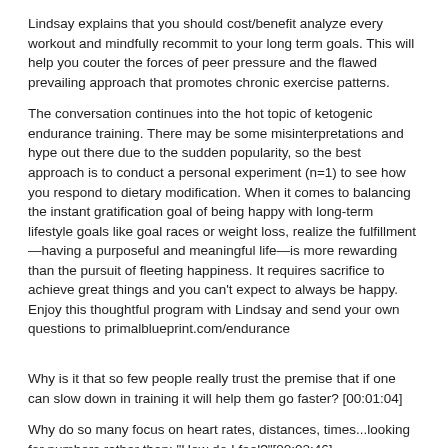Lindsay explains that you should cost/benefit analyze every workout and mindfully recommit to your long term goals. This will help you couter the forces of peer pressure and the flawed prevailing approach that promotes chronic exercise patterns.
The conversation continues into the hot topic of ketogenic endurance training. There may be some misinterpretations and hype out there due to the sudden popularity, so the best approach is to conduct a personal experiment (n=1) to see how you respond to dietary modification. When it comes to balancing the instant gratification goal of being happy with long-term lifestyle goals like goal races or weight loss, realize the fulfillment—having a purposeful and meaningful life—is more rewarding than the pursuit of fleeting happiness. It requires sacrifice to achieve great things and you can't expect to always be happy. Enjoy this thoughtful program with Lindsay and send your own questions to primalblueprint.com/endurance
Why is it that so few people really trust the premise that if one can slow down in training it will help them go faster? [00:01:04]
Why do so many focus on heart rates, distances, times...looking for numbers rather than: "How do I feel?"[00:02:46]
How do I know I am making the right decision today regarding my training schedule? [00:06:26]